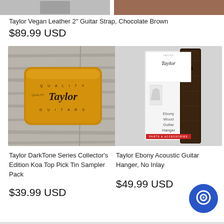[Figure (photo): Partial top strip showing left side light gray product image and right side chocolate brown guitar strap]
Taylor Vegan Leather 2" Guitar Strap, Chocolate Brown
$89.99 USD
[Figure (photo): Taylor DarkTone Series Collector's Edition Koa Top Pick Tin Sampler Pack - wooden tin with Taylor logo on wood plank background]
[Figure (photo): Taylor Ebony Acoustic Guitar Hanger, No Inlay - packaged product showing dark wood hanger with Taylor branded white box]
Taylor DarkTone Series Collector's Edition Koa Top Pick Tin Sampler Pack
$39.99 USD
Taylor Ebony Acoustic Guitar Hanger, No Inlay
$49.99 USD